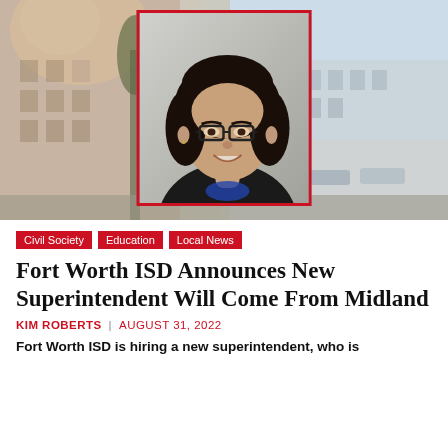[Figure (photo): Background photo of a school building (Fort Worth ISD) with a portrait photo of a woman with curly dark hair and glasses wearing a black blazer, overlaid with a red border, centered in the image.]
Civil Society
Education
Local News
Fort Worth ISD Announces New Superintendent Will Come From Midland
KIM ROBERTS  |  AUGUST 31, 2022
Fort Worth ISD is hiring a new superintendent, who is